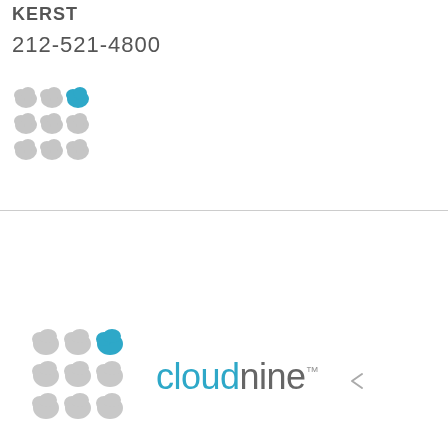KERST
212-521-4800
[Figure (logo): Cloud nine icon grid: 3x3 grid of cloud shapes, top-right cloud is blue, rest are gray]
[Figure (logo): Cloud nine brand logo: 3x3 grid of cloud shapes with top-right blue cloud, followed by 'cloudnine' text in gray with 'cloud' prefix in blue, and TM mark]